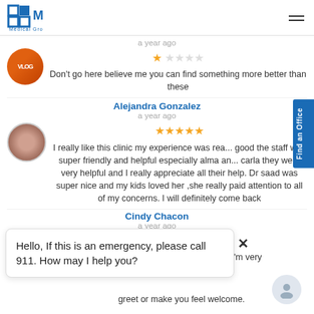[Figure (logo): CMD Medical Group logo with blue cross/grid icon and blue text]
a year ago
Don't go here believe me you can find something more better than these
Alejandra Gonzalez
a year ago
I really like this clinic my experience was really good the staff was super friendly and helpful especially alma and carla they were very helpful and I really appreciate all their help. Dr saad was super nice and my kids loved her ,she really paid attention to all of my concerns. I will definitely come back
Cindy Chacon
a year ago
Horrible every time I bring my kids! I'm very ...s on the ...ns ...they don't greet or make you feel welcome.
Hello, If this is an emergency, please call 911. How may I help you?